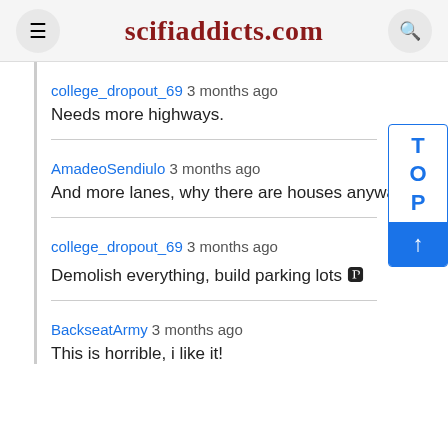scifiaddicts.com
college_dropout_69 3 months ago
Needs more highways.
AmadeoSendiulo 3 months ago
And more lanes, why there are houses anyway?
college_dropout_69 3 months ago
Demolish everything, build parking lots 🅿
BackseatArmy 3 months ago
This is horrible, i like it!